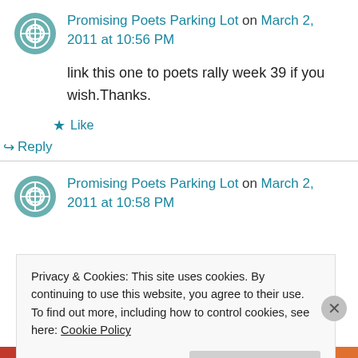Promising Poets Parking Lot on March 2, 2011 at 10:56 PM
link this one to poets rally week 39 if you wish.Thanks.
Like
Reply
Promising Poets Parking Lot on March 2, 2011 at 10:58 PM
Privacy & Cookies: This site uses cookies. By continuing to use this website, you agree to their use. To find out more, including how to control cookies, see here: Cookie Policy
Close and accept